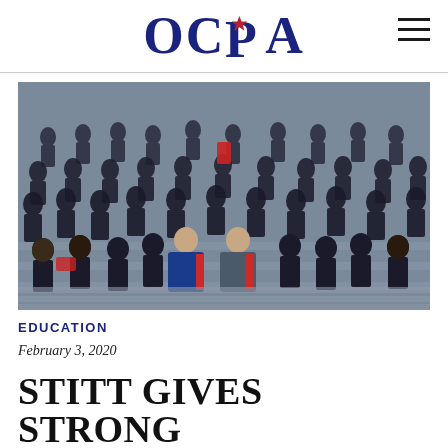OCPA
[Figure (photo): Large group photo of students in gray uniforms seated on steps, with two men in suits (one in blue, one in gray) seated in the front center. Additional adults stand in the back row.]
EDUCATION
February 3, 2020
STITT GIVES STRONG